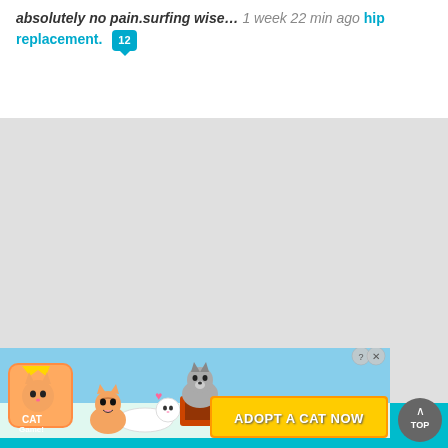absolutely no pain.surfing wise… 1 week 22 min ago hip replacement. [12 comments]
[Figure (screenshot): Gray advertisement placeholder area]
[Figure (illustration): Cat Game advertisement banner with cartoon cats and 'ADOPT A CAT NOW' text, with close and info buttons]